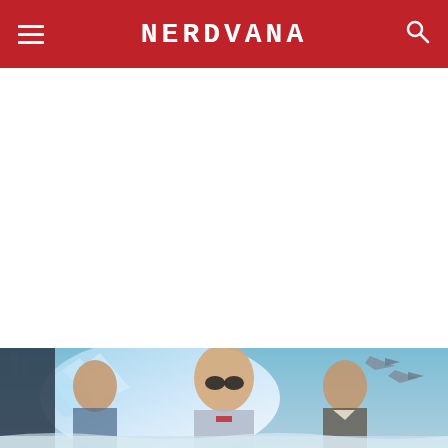NERDVANA
[Figure (illustration): Illustrated movie/TV poster artwork showing three characters in sci-fi/action setting with aircraft in background. Center character is an older man with goggles and silver costume, flanked by a younger man on left and a woman on right. Blue and white energy effects behind them, military jets in upper right corner. Appears to be Doctor Who themed artwork.]